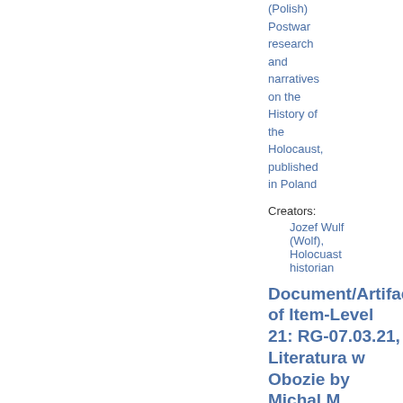(Polish) Postwar research and narratives on the History of the Holocaust, published in Poland
Creators:
Jozef Wulf (Wolf), Holocuast historian
Document/Artifact of Item-Level 21: RG-07.03.21, Literatura w Obozie by Michal M. Borwicz, 1946
The cover and first pages of the book entitled Literatura w Obozie (Literature in the Camp) by Michal